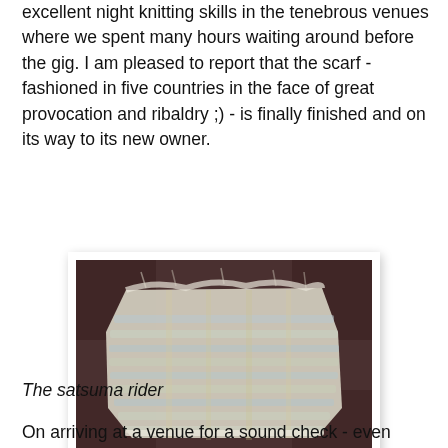excellent night knitting skills in the tenebrous venues where we spent many hours waiting around before the gig. I am pleased to report that the scarf - fashioned in five countries in the face of great provocation and ribaldry ;) - is finally finished and on its way to its new owner.
[Figure (photo): A knitted scarf or fabric swatch photographed on a dark brown/purple background. The knitting appears to be in light blue, white and pale yellow, with a fluffy or mohair-like texture. The fabric is roughly rectangular with slightly wavy edges.]
The satsuma rider
On arriving at a venue for a sound check - even though